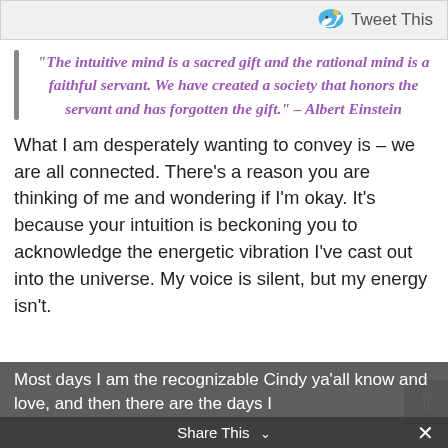[Figure (other): Tweet This button with Twitter bird icon]
“The intuitive mind is a sacred gift and the rational mind is a faithful servant. We have created a society that honors the servant and has forgotten the gift.” – Albert Einstein
What I am desperately wanting to convey is – we are all connected. There’s a reason you are thinking of me and wondering if I’m okay. It’s because your intuition is beckoning you to acknowledge the energetic vibration I’ve cast out into the universe. My voice is silent, but my energy isn’t.
Most days I am the recognizable Cindy ya’all know and love, and then there are the days I